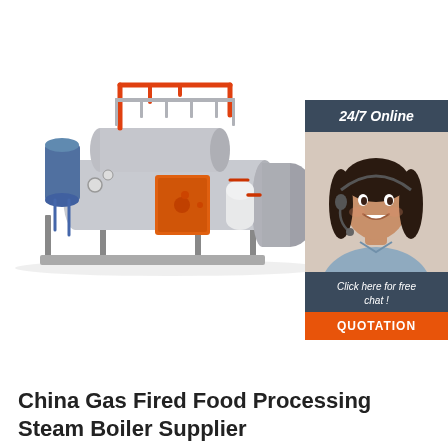[Figure (photo): Industrial gas fired steam boiler unit with orange piping, gray cylindrical tank bodies, orange burner cover, and supporting frame structure on white background]
[Figure (photo): Customer service widget showing a smiling woman wearing a headset on dark blue/gray background with '24/7 Online' header, 'Click here for free chat!' text, and an orange 'QUOTATION' button]
China Gas Fired Food Processing Steam Boiler Supplier